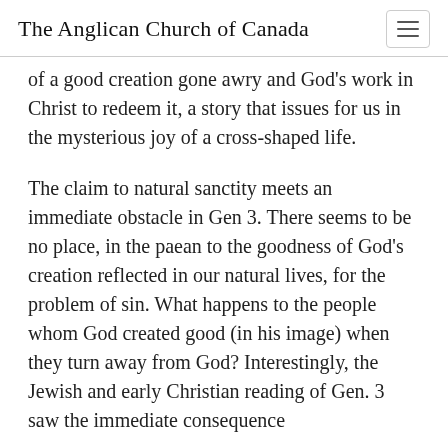The Anglican Church of Canada
of a good creation gone awry and God's work in Christ to redeem it, a story that issues for us in the mysterious joy of a cross-shaped life.
The claim to natural sanctity meets an immediate obstacle in Gen 3. There seems to be no place, in the paean to the goodness of God's creation reflected in our natural lives, for the problem of sin. What happens to the people whom God created good (in his image) when they turn away from God? Interestingly, the Jewish and early Christian reading of Gen. 3 saw the immediate consequence